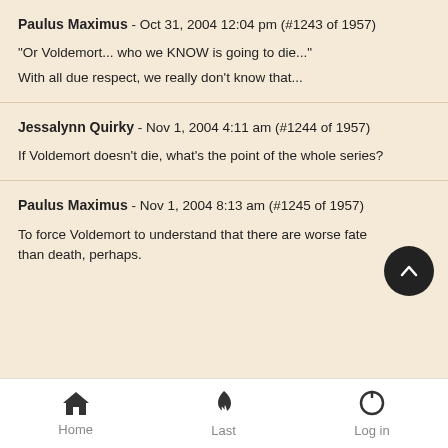Paulus Maximus - Oct 31, 2004 12:04 pm (#1243 of 1957)

"Or Voldemort... who we KNOW is going to die..."

With all due respect, we really don't know that...
Jessalynn Quirky - Nov 1, 2004 4:11 am (#1244 of 1957)

If Voldemort doesn't die, what's the point of the whole series?
Paulus Maximus - Nov 1, 2004 8:13 am (#1245 of 1957)

To force Voldemort to understand that there are worse fates than death, perhaps.
Home   Last   Log in